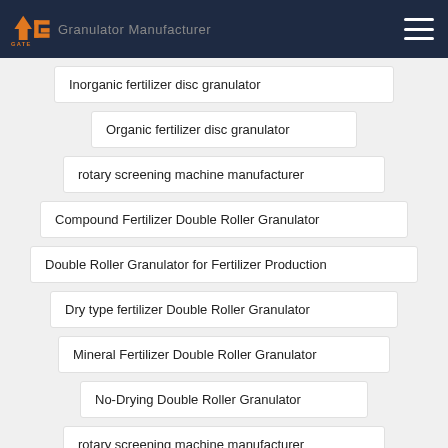GATE Granulator Manufacturer
Inorganic fertilizer disc granulator
Organic fertilizer disc granulator
rotary screening machine manufacturer
Compound Fertilizer Double Roller Granulator
Double Roller Granulator for Fertilizer Production
Dry type fertilizer Double Roller Granulator
Mineral Fertilizer Double Roller Granulator
No-Drying Double Roller Granulator
rotary screening machine manufacturer